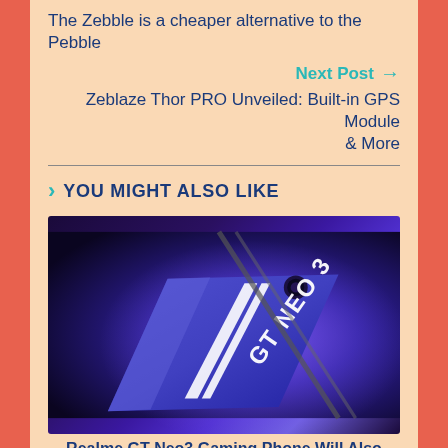The Zebble is a cheaper alternative to the Pebble
Next Post →
Zeblaze Thor PRO Unveiled: Built-in GPS Module & More
YOU MIGHT ALSO LIKE
[Figure (photo): Realme GT Neo 3 smartphone shown from the back, in blue/purple color with white racing stripes and GT NEO 3 branding, on a dark background]
Realme GT Neo3 Gaming Phone Will Also